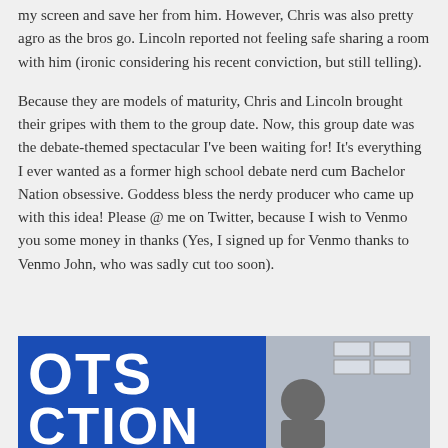my screen and save her from him. However, Chris was also pretty agro as the bros go. Lincoln reported not feeling safe sharing a room with him (ironic considering his recent conviction, but still telling).
Because they are models of maturity, Chris and Lincoln brought their gripes with them to the group date. Now, this group date was the debate-themed spectacular I've been waiting for! It's everything I ever wanted as a former high school debate nerd cum Bachelor Nation obsessive. Goddess bless the nerdy producer who came up with this idea! Please @ me on Twitter, because I wish to Venmo you some money in thanks (Yes, I signed up for Venmo thanks to Venmo John, who was sadly cut too soon).
[Figure (photo): Partial image showing a blue banner with large white letters 'OTS' and 'CTION' visible, and on the right side a person standing in front of what appears to be a building with windows.]